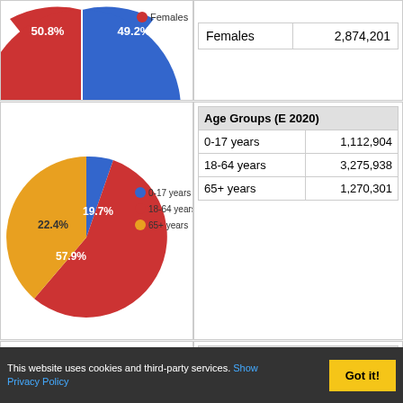[Figure (pie-chart): Sex distribution]
|  |  |
| --- | --- |
| Females | 2,874,201 |
[Figure (pie-chart): Age Groups (E 2020)]
| Age Groups (E 2020) |  |
| --- | --- |
| 0-17 years | 1,112,904 |
| 18-64 years | 3,275,938 |
| 65+ years | 1,270,301 |
[Figure (bar-chart): Age Distribution (E 2020)]
| Age Distribution (E 2020) |  |
| --- | --- |
| 0-9 years | 610,432 |
| 10-19 years | 626,021 |
| 20-29 years | 666,836 |
| 30-39 years | 665,992 |
| 40-49 years | 669,024 |
| 50-59 years | 796,384 |
| 60-69 years | 680,444 |
| 70-79 years | 593,214 |
| 80+ years | 350,796 |
This website uses cookies and third-party services. Show Privacy Policy  Got it!